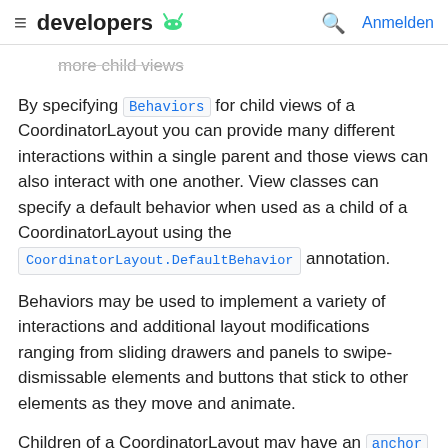≡  developers  [android icon]  🔍  Anmelden
more child views
By specifying Behaviors for child views of a CoordinatorLayout you can provide many different interactions within a single parent and those views can also interact with one another. View classes can specify a default behavior when used as a child of a CoordinatorLayout using the CoordinatorLayout.DefaultBehavior annotation.
Behaviors may be used to implement a variety of interactions and additional layout modifications ranging from sliding drawers and panels to swipe-dismissable elements and buttons that stick to other elements as they move and animate.
Children of a CoordinatorLayout may have an anchor . This view id must correspond to an arbitrary descendant of